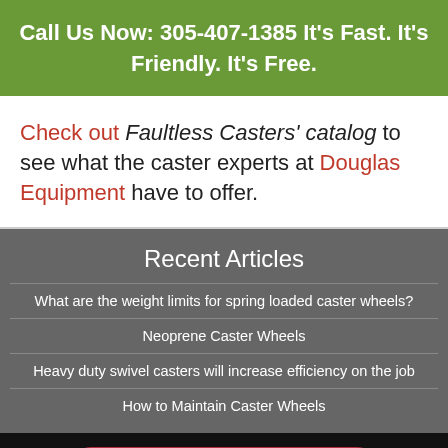Call Us Now: 305-407-1385 It's Fast. It's Friendly. It's Free.
Check out Faultless Casters' catalog to see what the caster experts at Douglas Equipment have to offer.
Recent Articles
What are the weight limits for spring loaded caster wheels?
Neoprene Caster Wheels
Heavy duty swivel casters will increase efficiency on the job
How to Maintain Caster Wheels
SEND A MESSAGE